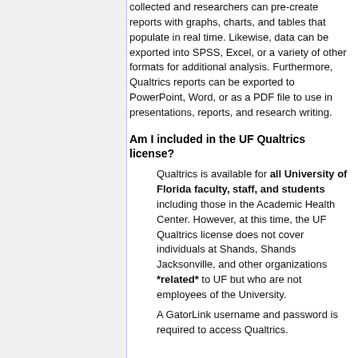collected and researchers can pre-create reports with graphs, charts, and tables that populate in real time. Likewise, data can be exported into SPSS, Excel, or a variety of other formats for additional analysis. Furthermore, Qualtrics reports can be exported to PowerPoint, Word, or as a PDF file to use in presentations, reports, and research writing.
Am I included in the UF Qualtrics license?
Qualtrics is available for all University of Florida faculty, staff, and students including those in the Academic Health Center. However, at this time, the UF Qualtrics license does not cover individuals at Shands, Shands Jacksonville, and other organizations *related* to UF but who are not employees of the University.
A GatorLink username and password is required to access Qualtrics.